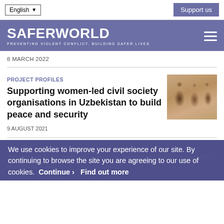English | Support us
SAFERWORLD — PREVENTING VIOLENT CONFLICT. BUILDING SAFER LIVES
8 MARCH 2022
PROJECT PROFILES
Supporting women-led civil society organisations in Uzbekistan to build peace and security
9 AUGUST 2021
COMMENT & ANALYSIS
We use cookies to improve your experience of our site. By continuing to browse the site you are agreeing to our use of cookies.  Continue >  Find out more
22 JUNE 2021